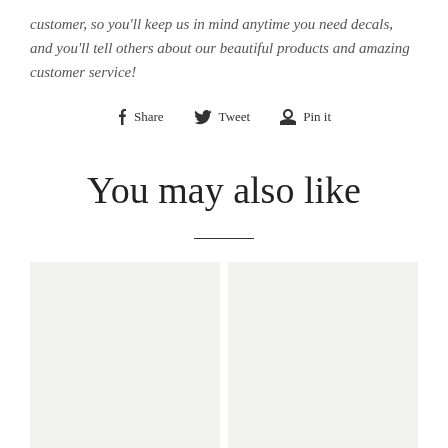customer, so you'll keep us in mind anytime you need decals, and you'll tell others about our beautiful products and amazing customer service!
Share  Tweet  Pin it
You may also like
[Figure (other): Light gray placeholder rectangle for product image]
[Figure (other): Light gray placeholder rectangle for product image]